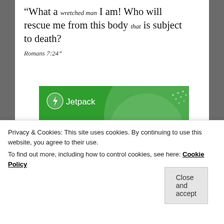“What a wretched man I am! Who will rescue me from this body that is subject to death?
Romans 7:24”
[Figure (screenshot): Jetpack plugin advertisement banner with green background, Jetpack logo, and text 'The best real-time WordPress backup plugin']
Privacy & Cookies: This site uses cookies. By continuing to use this website, you agree to their use.
To find out more, including how to control cookies, see here: Cookie Policy
Close and accept